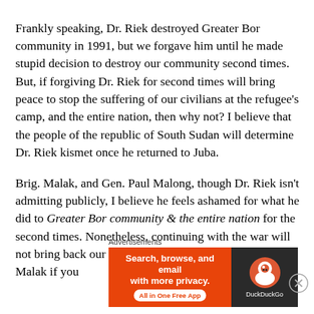Frankly speaking, Dr. Riek destroyed Greater Bor community in 1991, but we forgave him until he made stupid decision to destroy our community second times. But, if forgiving Dr. Riek for second times will bring peace to stop the suffering of our civilians at the refugee's camp, and the entire nation, then why not? I believe that the people of the republic of South Sudan will determine Dr. Riek kismet once he returned to Juba.
Brig. Malak, and Gen. Paul Malong, though Dr. Riek isn't admitting publicly, I believe he feels ashamed for what he did to Greater Bor community & the entire nation for the second times. Nonetheless, continuing with the war will not bring back our loved ones. Gen. Malong and Brig. Malak if you
Advertisements
[Figure (other): DuckDuckGo advertisement banner with orange left panel showing 'Search, browse, and email with more privacy. All in One Free App' and dark right panel with DuckDuckGo logo]